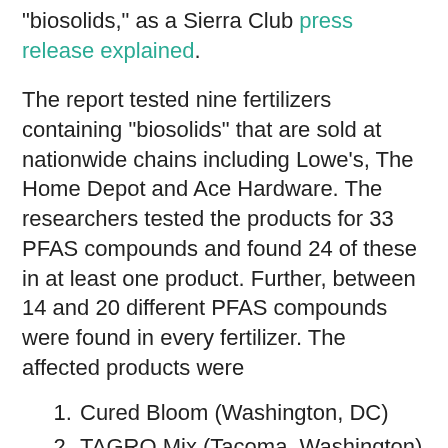“biosolids,” as a Sierra Club press release explained.
The report tested nine fertilizers containing “biosolids” that are sold at nationwide chains including Lowe’s, The Home Depot and Ace Hardware. The researchers tested the products for 33 PFAS compounds and found 24 of these in at least one product. Further, between 14 and 20 different PFAS compounds were found in every fertilizer. The affected products were
Cured Bloom (Washington, DC)
TAGRO Mix (Tacoma, Washington)
Milorganite 6-4-0 (Milwaukee, Wisconsin)
Pro Care Natural Fertilizer (Madison, Georgia)
EcoScraps Slow-Release Fertilizer (Las